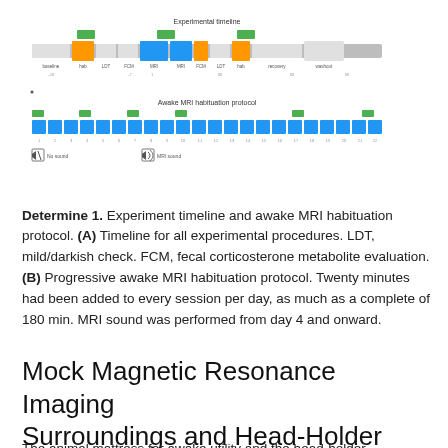[Figure (flowchart): Two-part experimental protocol diagram. Top part (A) shows an experiment timeline with colored boxes (green, orange, blue) representing different experimental stages and procedures arranged horizontally with time points labeled below. Bottom part (B) shows an awake MRI habituation protocol with a row of blue boxes representing daily sessions and a legend with sound/no-sound indicators.]
Determine 1. Experiment timeline and awake MRI habituation protocol. (A) Timeline for all experimental procedures. LDT, mild/darkish check. FCM, fecal corticosterone metabolite evaluation. (B) Progressive awake MRI habituation protocol. Twenty minutes had been added to every session per day, as much as a complete of 180 min. MRI sound was performed from day 4 and onward.
Mock Magnetic Resonance Imaging Surroundings and Head-Holder
The animal mattress for awake utility and the head-holder